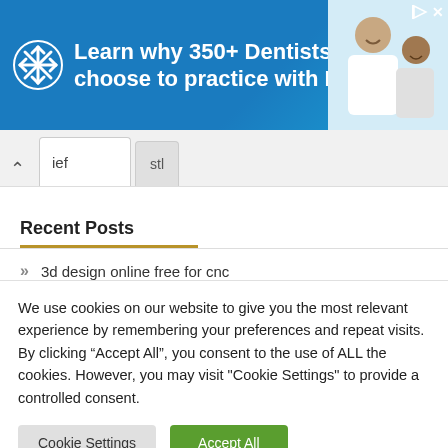[Figure (illustration): Advertisement banner: blue background with snowflake/asterisk logo and text 'Learn why 350+ Dentists choose to practice with Benevis', with a photo of two smiling people in dental coats on the right side.]
ief   stl
Recent Posts
3d design online free for cnc
CNGSWOOD WORK 3D DESIGN FILE
We use cookies on our website to give you the most relevant experience by remembering your preferences and repeat visits. By clicking “Accept All”, you consent to the use of ALL the cookies. However, you may visit "Cookie Settings" to provide a controlled consent.
Cookie Settings   Accept All